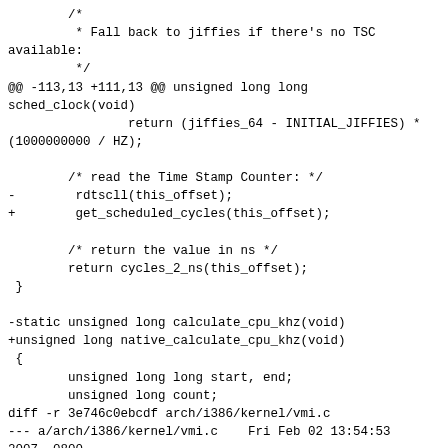/*
         * Fall back to jiffies if there's no TSC available:
         */
@@ -113,13 +111,13 @@ unsigned long long sched_clock(void)
                return (jiffies_64 - INITIAL_JIFFIES) * (1000000000 / HZ);

         /* read the Time Stamp Counter: */
-        rdtscll(this_offset);
+        get_scheduled_cycles(this_offset);

         /* return the value in ns */
         return cycles_2_ns(this_offset);
 }

-static unsigned long calculate_cpu_khz(void)
+unsigned long native_calculate_cpu_khz(void)
 {
         unsigned long long start, end;
         unsigned long count;
diff -r 3e746c0ebcdf arch/i386/kernel/vmi.c
--- a/arch/i386/kernel/vmi.c    Fri Feb 02 13:54:53 2007 -0800
+++ b/arch/i386/kernel/vmi.c    Fri Feb 02 15:32:20 2007 -0800
@@ -880,7 +880,7 @@ static int __init activate_vmi(void)
                paravirt_ops.setup_boot_clock =